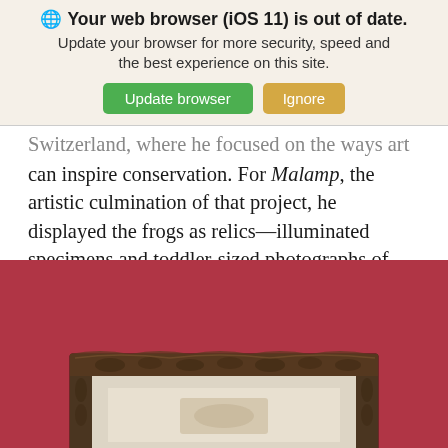[Figure (screenshot): Browser update notification banner with globe icon, bold text 'Your web browser (iOS 11) is out of date.', subtitle 'Update your browser for more security, speed and the best experience on this site.', and two buttons: green 'Update browser' and orange/tan 'Ignore'.]
Switzerland, where he focused on the ways art can inspire conservation. For Malamp, the artistic culmination of that project, he displayed the frogs as relics—illuminated specimens and toddler-sized photographs of sacred individuals, lost through human action.
[Figure (photo): A photograph showing a dark ornate picture frame with leaf/vine decorative carving, mounted on a deep red/crimson textured wall. The frame appears to have a light-colored mat or photograph inside it, only partially visible.]